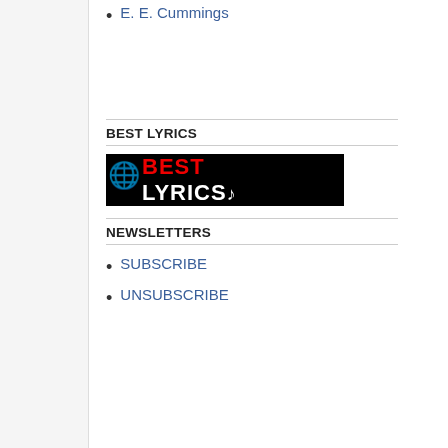E. E. Cummings
BEST LYRICS
[Figure (logo): Best Lyrics logo — black background with red 'BEST' and white 'LYRICS' text with a musical note, and a globe graphic on the left.]
NEWSLETTERS
SUBSCRIBE
UNSUBSCRIBE